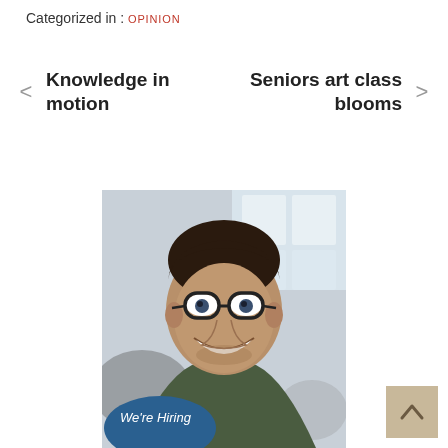Categorized in : OPINION
Knowledge in motion
Seniors art class blooms
[Figure (photo): Smiling young man with glasses and dark short hair wearing a dark olive/green shirt, photographed in an office environment. A 'We're Hiring' badge appears in the bottom left of the image.]